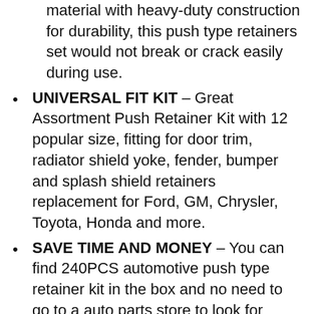material with heavy-duty construction for durability, this push type retainers set would not break or crack easily during use.
UNIVERSAL FIT KIT – Great Assortment Push Retainer Kit with 12 popular size, fitting for door trim, radiator shield yoke, fender, bumper and splash shield retainers replacement for Ford, GM, Chrysler, Toyota, Honda and more.
SAVE TIME AND MONEY – You can find 240PCS automotive push type retainer kit in the box and no need to go to a auto parts store to look for different fasteners. You can remove the old clips using free fastener remover.